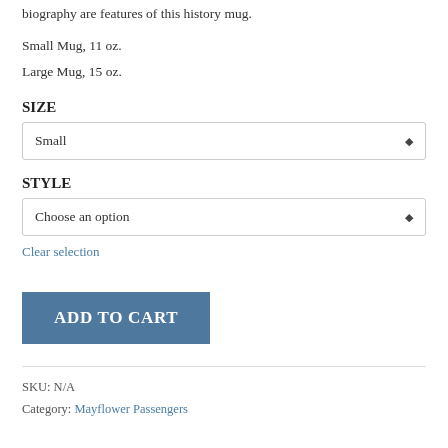biography are features of this history mug.
Small Mug, 11 oz.
Large Mug, 15 oz.
SIZE
Small
STYLE
Choose an option
Clear selection
ADD TO CART
SKU: N/A
Category: Mayflower Passengers